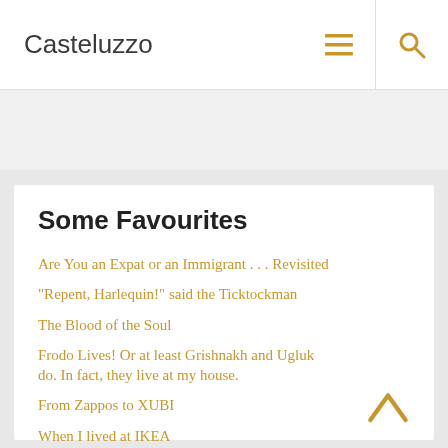Casteluzzo
Some Favourites
Are You an Expat or an Immigrant . . . Revisited
“Repent, Harlequin!” said the Ticktockman
The Blood of the Soul
Frodo Lives! Or at least Grishnakh and Ugluk do. In fact, they live at my house.
From Zappos to XUBI
When I lived at IKEA